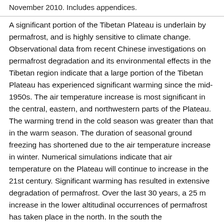November 2010. Includes appendices.
A significant portion of the Tibetan Plateau is underlain by permafrost, and is highly sensitive to climate change. Observational data from recent Chinese investigations on permafrost degradation and its environmental effects in the Tibetan region indicate that a large portion of the Tibetan Plateau has experienced significant warming since the mid-1950s. The air temperature increase is most significant in the central, eastern, and northwestern parts of the Plateau. The warming trend in the cold season was greater than that in the warm season. The duration of seasonal ground freezing has shortened due to the air temperature increase in winter. Numerical simulations indicate that air temperature on the Plateau will continue to increase in the 21st century. Significant warming has resulted in extensive degradation of permafrost. Over the last 30 years, a 25 m increase in the lower altitudinal occurrences of permafrost has taken place in the north. In the south the increase is 50-80 m over the past 30 years. Active layer